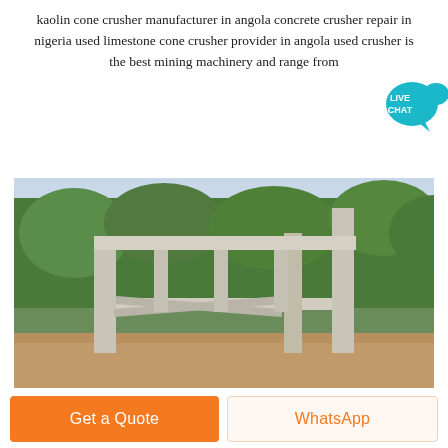kaolin cone crusher manufacturer in angola concrete crusher repair in nigeria used limestone cone crusher provider in angola used crusher is the best mining machinery and range from
[Figure (photo): Outdoor photo of a concrete/metal industrial structure or gate frame with diagonal bracing, set against a background of dense green trees and a partly cloudy sky, with dirt/sand at the base.]
Get a Quote
WhatsApp